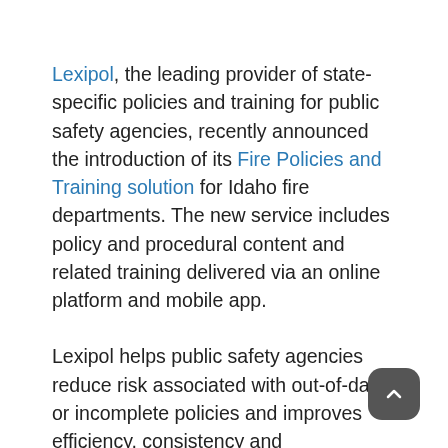Lexipol, the leading provider of state-specific policies and training for public safety agencies, recently announced the introduction of its Fire Policies and Training solution for Idaho fire departments. The new service includes policy and procedural content and related training delivered via an online platform and mobile app.
Lexipol helps public safety agencies reduce risk associated with out-of-date or incomplete policies and improves efficiency, consistency and professionalism across the organization. Developed by fire service professionals and public safety attorneys, the Lexipol Idaho Fire